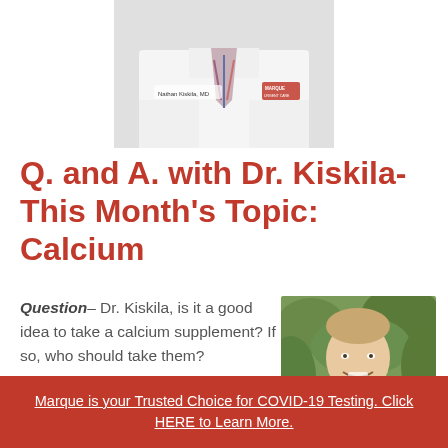[Figure (photo): Close-up photo of a doctor in a white lab coat with name tag reading 'Nathan Kiskila, MD' and a Marque Urgent Care logo. The doctor is wearing a striped tie.]
Q. and A. with Dr. Kiskila- This Month's Topic: Calcium
Question– Dr. Kiskila, is it a good idea to take a calcium supplement?  If so, who should take them?
[Figure (photo): Headshot of Dr. Kiskila smiling outdoors, wearing a white lab coat and striped tie, with green foliage in the background.]
Marque is your Trusted Choice for COVID-19 Testing. Click HERE to Learn More.